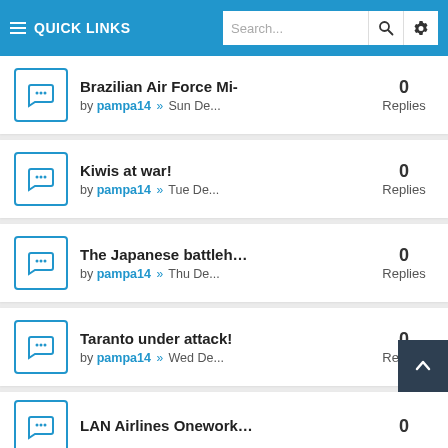QUICK LINKS | Search...
Brazilian Air Force Mi- by pampa14 » Sun De... — 0 Replies
Kiwis at war! by pampa14 » Tue De... — 0 Replies
The Japanese battleh… by pampa14 » Thu De... — 0 Replies
Taranto under attack! by pampa14 » Wed De... — 0 Replies
LAN Airlines Onework… — 0